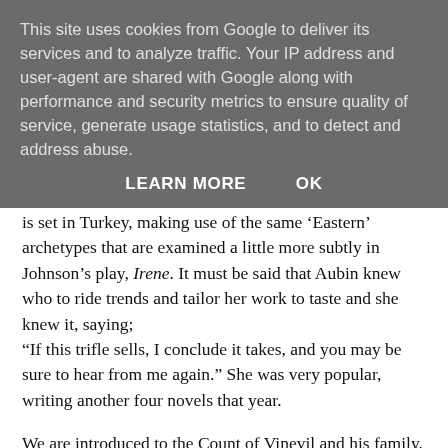This site uses cookies from Google to deliver its services and to analyze traffic. Your IP address and user-agent are shared with Google along with performance and security metrics to ensure quality of service, generate usage statistics, and to detect and address abuse.
LEARN MORE   OK
is set in Turkey, making use of the same ‘Eastern’ archetypes that are examined a little more subtly in Johnson’s play, Irene. It must be said that Aubin knew who to ride trends and tailor her work to taste and she knew it, saying;
“If this trifle sells, I conclude it takes, and you may be sure to hear from me again.” She was very popular, writing another four novels that year.
We are introduced to the Count of Vinevil and his family. He is of noble blood but having been an uncorrupt official, is now rather down on his funds and decides to trade with Muslims in Constantinople. He was a daughter called Ardelisa who is beautiful and looks after a young man, the